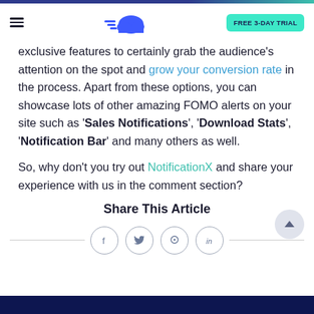FREE 3-DAY TRIAL
exclusive features to certainly grab the audience’s attention on the spot and grow your conversion rate in the process. Apart from these options, you can showcase lots of other amazing FOMO alerts on your site such as ‘Sales Notifications’, ‘Download Stats’, ‘Notification Bar’ and many others as well.
So, why don’t you try out NotificationX and share your experience with us in the comment section?
Share This Article